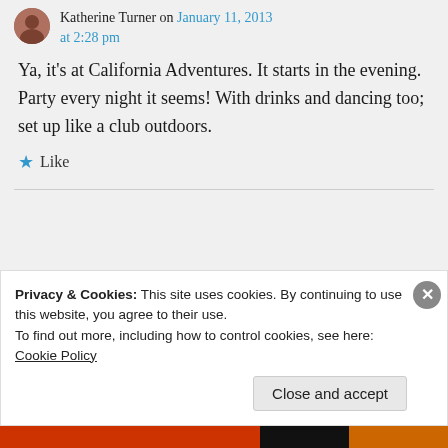Katherine Turner on January 11, 2013 at 2:28 pm
Ya, it's at California Adventures. It starts in the evening. Party every night it seems! With drinks and dancing too; set up like a club outdoors.
★ Like
Privacy & Cookies: This site uses cookies. By continuing to use this website, you agree to their use.
To find out more, including how to control cookies, see here: Cookie Policy
Close and accept